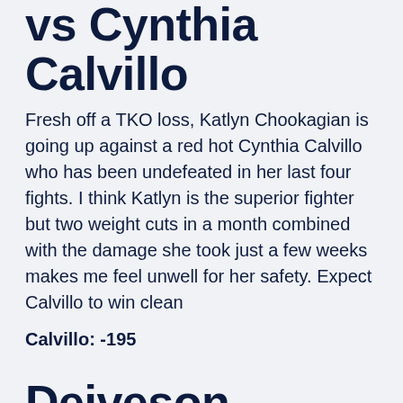vs Cynthia Calvillo
Fresh off a TKO loss, Katlyn Chookagian is going up against a red hot Cynthia Calvillo who has been undefeated in her last four fights. I think Katlyn is the superior fighter but two weight cuts in a month combined with the damage she took just a few weeks makes me feel unwell for her safety. Expect Calvillo to win clean
Calvillo: -195
Deiveson Figueiredo vs Alex Perez
Deiveson's first title defense came against...